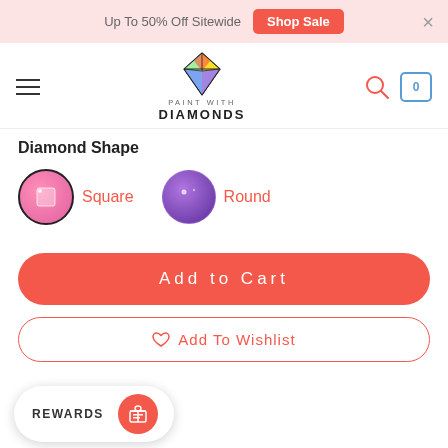Up To 50% Off Sitewide  Shop Sale  ×
[Figure (logo): Paint With Diamonds logo — colorful diamond gem above text 'PAINT WITH DIAMONDS']
Diamond Shape
[Figure (illustration): Two diamond shape options: a pink/white square gem (selected, with black circle border) labeled 'Square', and a purple round gem labeled 'Round']
Add to Cart
♡ Add To Wishlist
REWARDS